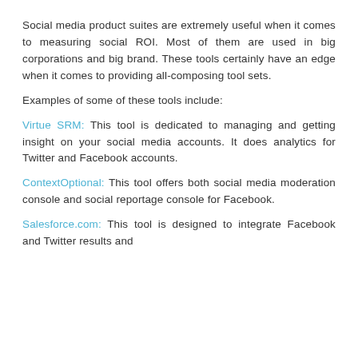Social media product suites are extremely useful when it comes to measuring social ROI. Most of them are used in big corporations and big brand. These tools certainly have an edge when it comes to providing all-composing tool sets.
Examples of some of these tools include:
Virtue SRM: This tool is dedicated to managing and getting insight on your social media accounts. It does analytics for Twitter and Facebook accounts.
ContextOptional: This tool offers both social media moderation console and social reportage console for Facebook.
Salesforce.com: This tool is designed to integrate Facebook and Twitter results and